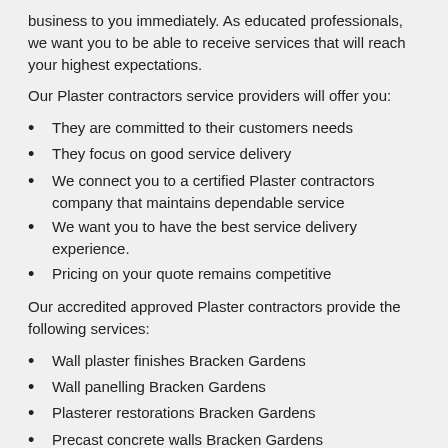business to you immediately. As educated professionals, we want you to be able to receive services that will reach your highest expectations.
Our Plaster contractors service providers will offer you:
They are committed to their customers needs
They focus on good service delivery
We connect you to a certified Plaster contractors company that maintains dependable service
We want you to have the best service delivery experience.
Pricing on your quote remains competitive
Our accredited approved Plaster contractors provide the following services:
Wall plaster finishes Bracken Gardens
Wall panelling Bracken Gardens
Plasterer restorations Bracken Gardens
Precast concrete walls Bracken Gardens
Stone walls Bracken Gardens
Plastering installations Bracken Gardens
Plastering walls Bracken Gardens
Concrete walls Bracken Gardens
Exterior cement plaster Bracken Gardens
Wall Bracken Gardens
Plaster wall repair Bracken Gardens
Walling contractors Bracken Gardens
Wall covering Bracken Gardens